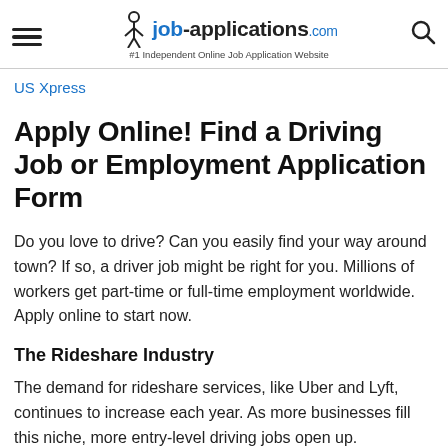job-applications.com #1 Independent Online Job Application Website
US Xpress
Apply Online! Find a Driving Job or Employment Application Form
Do you love to drive? Can you easily find your way around town? If so, a driver job might be right for you. Millions of workers get part-time or full-time employment worldwide. Apply online to start now.
The Rideshare Industry
The demand for rideshare services, like Uber and Lyft, continues to increase each year. As more businesses fill this niche, more entry-level driving jobs open up.